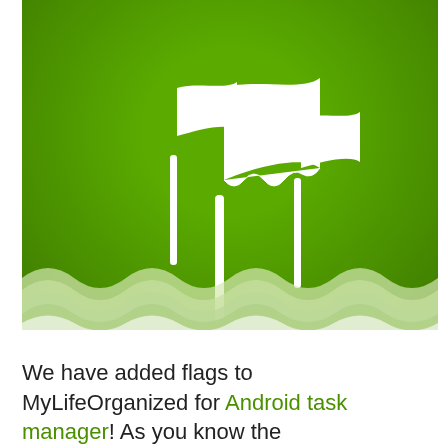[Figure (illustration): Green banner image with three white flag icons (pennants on poles) arranged overlapping in the center, with a wavy light-green decorative border at the bottom.]
We have added flags to MyLifeOrganized for Android task manager! As you know the